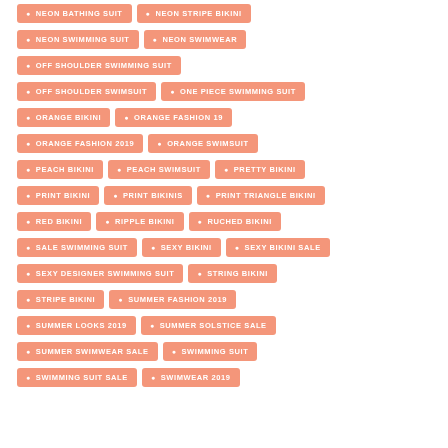NEON BATHING SUIT
NEON STRIPE BIKINI
NEON SWIMMING SUIT
NEON SWIMWEAR
OFF SHOULDER SWIMMING SUIT
OFF SHOULDER SWIMSUIT
ONE PIECE SWIMMING SUIT
ORANGE BIKINI
ORANGE FASHION 19
ORANGE FASHION 2019
ORANGE SWIMSUIT
PEACH BIKINI
PEACH SWIMSUIT
PRETTY BIKINI
PRINT BIKINI
PRINT BIKINIS
PRINT TRIANGLE BIKINI
RED BIKINI
RIPPLE BIKINI
RUCHED BIKINI
SALE SWIMMING SUIT
SEXY BIKINI
SEXY BIKINI SALE
SEXY DESIGNER SWIMMING SUIT
STRING BIKINI
STRIPE BIKINI
SUMMER FASHION 2019
SUMMER LOOKS 2019
SUMMER SOLSTICE SALE
SUMMER SWIMWEAR SALE
SWIMMING SUIT
SWIMMING SUIT SALE
SWIMWEAR 2019